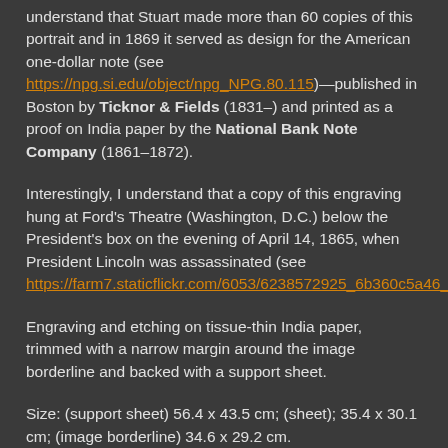understand that Stuart made more than 60 copies of this portrait and in 1869 it served as design for the American one-dollar note (see https://npg.si.edu/object/npg_NPG.80.115)—published in Boston by Ticknor & Fields (1831–) and printed as a proof on India paper by the National Bank Note Company (1861–1872).
Interestingly, I understand that a copy of this engraving hung at Ford's Theatre (Washington, D.C.) below the President's box on the evening of April 14, 1865, when President Lincoln was assassinated (see https://farm7.staticflickr.com/6053/6238572925_6b360c5a46_o.jpg).
Engraving and etching on tissue-thin India paper, trimmed with a narrow margin around the image borderline and backed with a support sheet.
Size: (support sheet) 56.4 x 43.5 cm; (sheet); 35.4 x 30.1 cm; (image borderline) 34.6 x 29.2 cm.
Condition: a strong and well-printed impression trimmed close to the image borderline and laid upon an archival support sheet of millennium quality washi paper that provides a wide margin. There are many small spots of